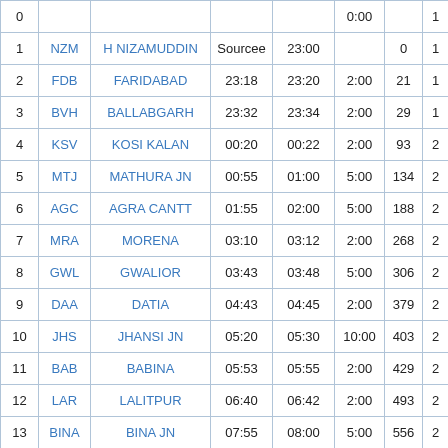| # | Code | Station | Arr | Dep | Halt | Dist | Day |
| --- | --- | --- | --- | --- | --- | --- | --- |
| 0 |  |  |  |  | 0:00 |  | 1 |
| 1 | NZM | H NIZAMUDDIN | Sourcee | 23:00 |  | 0 | 1 |
| 2 | FDB | FARIDABAD | 23:18 | 23:20 | 2:00 | 21 | 1 |
| 3 | BVH | BALLABGARH | 23:32 | 23:34 | 2:00 | 29 | 1 |
| 4 | KSV | KOSI KALAN | 00:20 | 00:22 | 2:00 | 93 | 2 |
| 5 | MTJ | MATHURA JN | 00:55 | 01:00 | 5:00 | 134 | 2 |
| 6 | AGC | AGRA CANTT | 01:55 | 02:00 | 5:00 | 188 | 2 |
| 7 | MRA | MORENA | 03:10 | 03:12 | 2:00 | 268 | 2 |
| 8 | GWL | GWALIOR | 03:43 | 03:48 | 5:00 | 306 | 2 |
| 9 | DAA | DATIA | 04:43 | 04:45 | 2:00 | 379 | 2 |
| 10 | JHS | JHANSI JN | 05:20 | 05:30 | 10:00 | 403 | 2 |
| 11 | BAB | BABINA | 05:53 | 05:55 | 2:00 | 429 | 2 |
| 12 | LAR | LALITPUR | 06:40 | 06:42 | 2:00 | 493 | 2 |
| 13 | BINA | BINA JN | 07:55 | 08:00 | 5:00 | 556 | 2 |
| 14 | MARA | MANDI BAMORA | 08:17 | 08:18 | 1:00 | 573 | 2 |